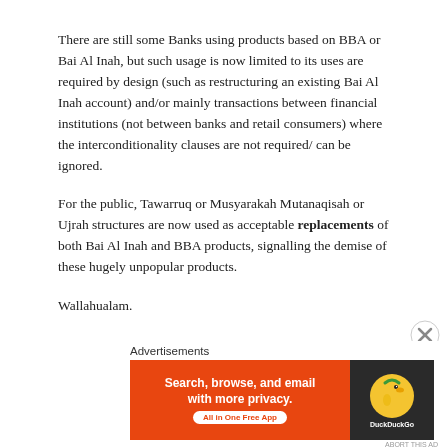There are still some Banks using products based on BBA or Bai Al Inah, but such usage is now limited to its uses are required by design (such as restructuring an existing Bai Al Inah account) and/or mainly transactions between financial institutions (not between banks and retail consumers) where the interconditionality clauses are not required/ can be ignored.
For the public, Tawarruq or Musyarakah Mutanaqisah or Ujrah structures are now used as acceptable replacements of both Bai Al Inah and BBA products, signalling the demise of these hugely unpopular products.
Wallahualam.
Advertisements